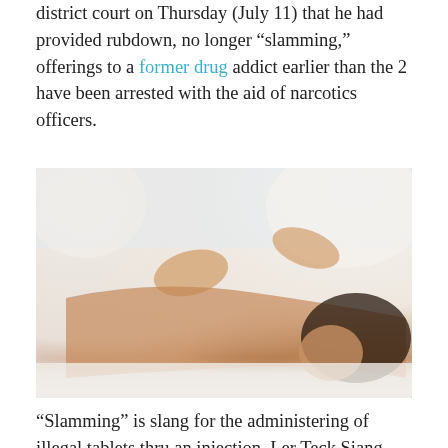district court on Thursday (July 11) that he had provided rubdown, no longer “slamming,” offerings to a former drug addict earlier than the 2 have been arrested with the aid of narcotics officers.
[Figure (photo): A woman lying face-down on a massage table receiving a back massage from a therapist. The woman has dark hair and appears relaxed with eyes closed. The setting appears to be a spa.]
“Slamming” is slang for the administering of illegal tablets thru an injection. Ler Teck Siang – one of the two men on the